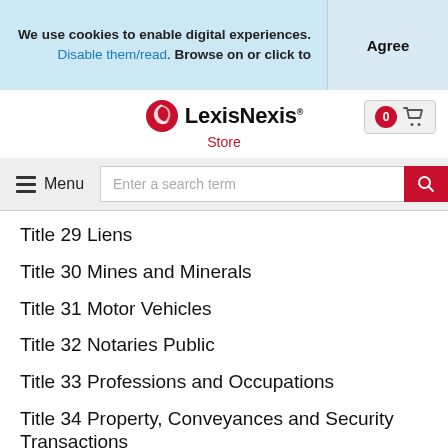We use cookies to enable digital experiences. Disable them/read. Browse on or click to
Agree
[Figure (logo): LexisNexis Store logo with red swirl icon]
Menu
Enter a search term
Title 29 Liens
Title 30 Mines and Minerals
Title 31 Motor Vehicles
Title 32 Notaries Public
Title 33 Professions and Occupations
Title 34 Property, Conveyances and Security Transactions